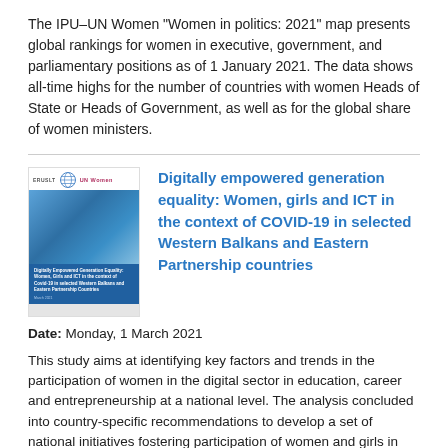The IPU–UN Women "Women in politics: 2021" map presents global rankings for women in executive, government, and parliamentary positions as of 1 January 2021. The data shows all-time highs for the number of countries with women Heads of State or Heads of Government, as well as for the global share of women ministers.
[Figure (illustration): Book/report cover image showing a woman working at a computer in a digital/tech environment, with logos for ERUSLT, UN, and UN Women at the top, and a blue title band reading about digitally empowered generation equality.]
Digitally empowered generation equality: Women, girls and ICT in the context of COVID-19 in selected Western Balkans and Eastern Partnership countries
Date: Monday, 1 March 2021
This study aims at identifying key factors and trends in the participation of women in the digital sector in education, career and entrepreneurship at a national level. The analysis concluded into country-specific recommendations to develop a set of national initiatives fostering participation of women and girls in the ICT